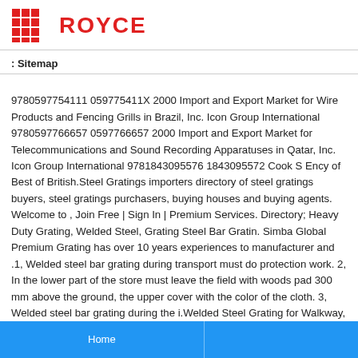ROYCE
: Sitemap
9780597754111 059775411X 2000 Import and Export Market for Wire Products and Fencing Grills in Brazil, Inc. Icon Group International 9780597766657 0597766657 2000 Import and Export Market for Telecommunications and Sound Recording Apparatuses in Qatar, Inc. Icon Group International 9781843095576 1843095572 Cook S Ency of Best of British.Steel Gratings importers directory of steel gratings buyers, steel gratings purchasers, buying houses and buying agents. Welcome to , Join Free | Sign In | Premium Services. Directory; Heavy Duty Grating, Welded Steel, Grating Steel Bar Gratin. Simba Global Premium Grating has over 10 years experiences to manufacturer and .1, Welded steel bar grating during transport must do protection work. 2, In the lower part of the store must leave the field with woods pad 300 mm above the ground, the upper cover with the color of the cloth. 3, Welded steel bar grating during the i.Welded Steel Grating for Walkway, Platform, Stair Treads and Various Floor Welded Steel Bar Grating is the most popular of all grating types due to its strength, cost efficient production and easy installation. . offers 196 30mm pitch steel bar grating
Home